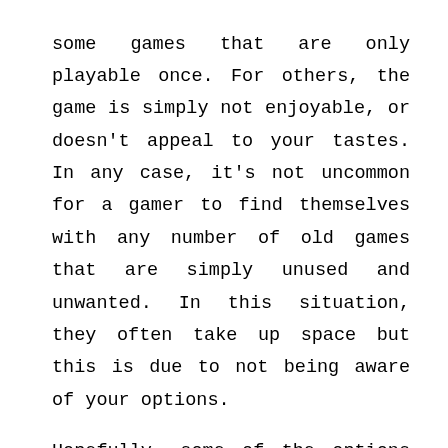some games that are only playable once. For others, the game is simply not enjoyable, or doesn't appeal to your tastes. In any case, it's not uncommon for a gamer to find themselves with any number of old games that are simply unused and unwanted. In this situation, they often take up space but this is due to not being aware of your options.

Hopefully, some of the options and advice presented here should help you clear up some of that valuable shelf-space for some new and better loved titles.